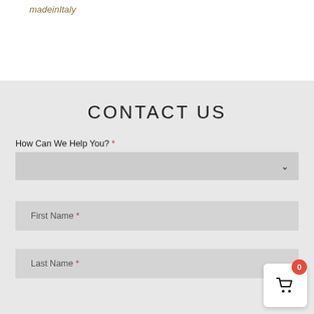madeinItaly
CONTACT US
How Can We Help You? *
First Name *
Last Name *